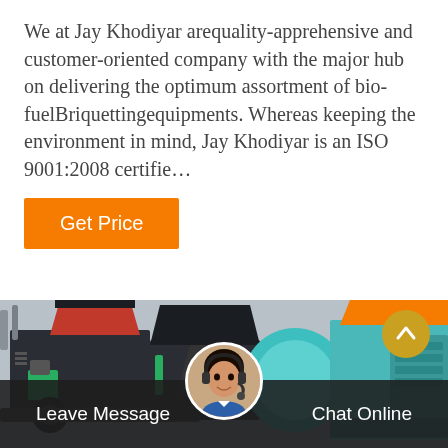We at Jay Khodiyar arequality-apprehensive and customer-oriented company with the major hub on delivering the optimum assortment of bio-fuelBriquettingequipments. Whereas keeping the environment in mind, Jay Khodiyar is an ISO 9001:2008 certifie…
Get Price
[Figure (photo): Industrial bio-fuel briquetting machines on a factory floor — two large dark-grey machines with green and red hoppers on the left, and a teal/light-blue machine with orange hopper on the right.]
Leave Message
Chat Online